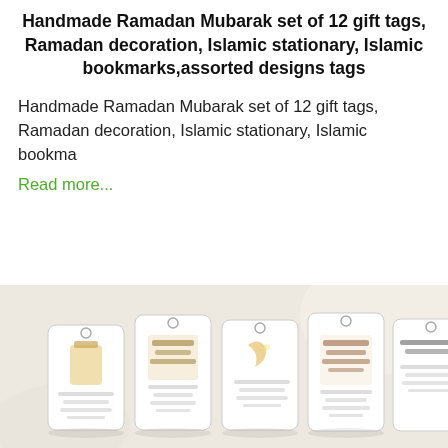Handmade Ramadan Mubarak set of 12 gift tags, Ramadan decoration, Islamic stationary, Islamic bookmarks,assorted designs tags
Handmade Ramadan Mubarak set of 12 gift tags, Ramadan decoration, Islamic stationary, Islamic bookma
Read more...
[Figure (photo): Photo of Ramadan Mubarak gift tags displayed on a light fabric background, showing multiple decorative tags with Islamic calligraphy and Ramadan motifs including lanterns, crescent moons, and Arabic text.]